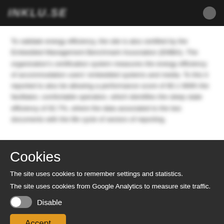[site logo/name blurred] [icon]
[blurred body text about energy efficiency and benchmark standards — text is obscured/blurred]
Cookies
The site uses cookies to remember settings and statistics.
The site uses cookies from Google Analytics to measure site traffic.
Disable
Accept